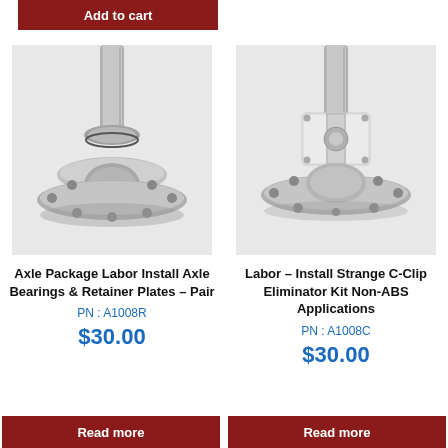Add to cart
[Figure (photo): Close-up photo of an axle shaft with bearing and flange plate, machined stainless steel, round flange with bolt holes]
Axle Package Labor Install Axle Bearings & Retainer Plates – Pair
PN : A1008R
$30.00
[Figure (photo): Close-up photo of an axle shaft with square white C-clip eliminator kit block mounted on flange plate, machined stainless steel]
Labor – Install Strange C-Clip Eliminator Kit Non-ABS Applications
PN : A1008C
$30.00
Read more
Read more